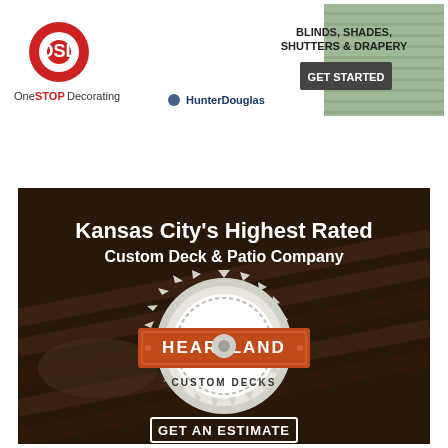[Figure (advertisement): OSD OneSTopDecorating banner ad featuring HunterDouglas. Shows window blinds background image, OSD logo on left, HunterDouglas logo center, text 'BLINDS, SHADES, SHUTTERS & DRAPERY' and a dark button 'GET STARTED' on the right.]
[Figure (advertisement): Heartland Custom Decks advertisement on dark background showing a person working with wood. Text reads 'Kansas City's Highest Rated Custom Deck & Patio Company'. Center features a circular saw blade logo with 'HEARTLAND CUSTOM DECKS'. Bottom has a button 'GET AN ESTIMATE'.]